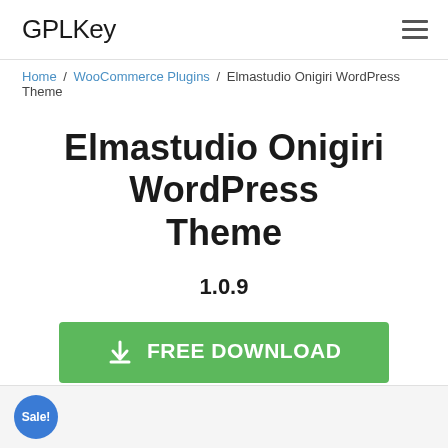GPLKey
Home / WooCommerce Plugins / Elmastudio Onigiri WordPress Theme
Elmastudio Onigiri WordPress Theme
1.0.9
FREE DOWNLOAD